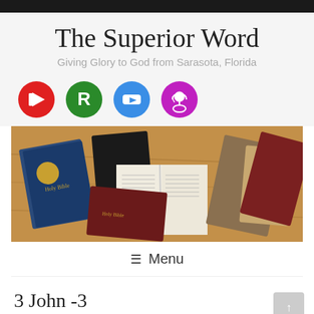The Superior Word
Giving Glory to God from Sarasota, Florida
[Figure (illustration): Four social media icon circles: red YouTube, green R, blue YouTube, purple podcast/radio icon]
[Figure (photo): Multiple Bibles and religious books arranged on a wooden surface, with one open Bible in the center showing text pages]
≡  Menu
3 John -3
Charlie Garrett    3 John, 3 John (written), Daily